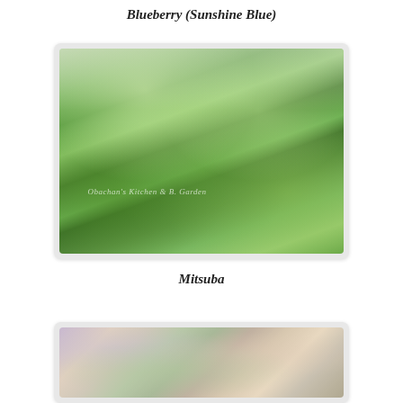Blueberry (Sunshine Blue)
[Figure (photo): Close-up photo of Mitsuba (Japanese parsley) plants with bright green tri-lobed leaves on thin stems, with watermark text 'Obachan's Kitchen & B. Garden']
Mitsuba
[Figure (photo): Partial photo of a blueberry plant (Sunshine Blue variety) showing branches with small pink/white flowers and leaves, partially cut off at bottom of page]